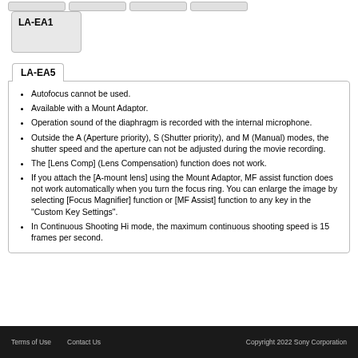LA-EA1
LA-EA5
Autofocus cannot be used.
Available with a Mount Adaptor.
Operation sound of the diaphragm is recorded with the internal microphone.
Outside the A (Aperture priority), S (Shutter priority), and M (Manual) modes, the shutter speed and the aperture can not be adjusted during the movie recording.
The [Lens Comp] (Lens Compensation) function does not work.
If you attach the [A-mount lens] using the Mount Adaptor, MF assist function does not work automatically when you turn the focus ring. You can enlarge the image by selecting [Focus Magnifier] function or [MF Assist] function to any key in the "Custom Key Settings".
In Continuous Shooting Hi mode, the maximum continuous shooting speed is 15 frames per second.
Terms of Use   Contact Us   Copyright 2022 Sony Corporation